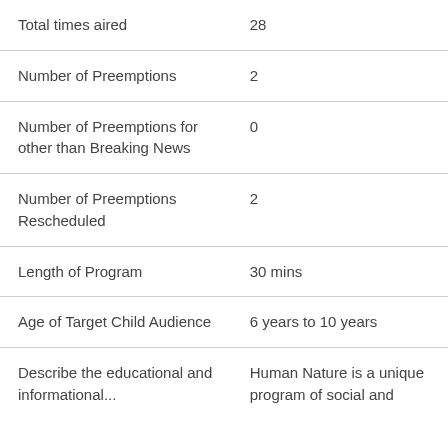| Total times aired | 28 |
| Number of Preemptions | 2 |
| Number of Preemptions for other than Breaking News | 0 |
| Number of Preemptions Rescheduled | 2 |
| Length of Program | 30 mins |
| Age of Target Child Audience | 6 years to 10 years |
| Describe the educational and informational... | Human Nature is a unique program of social and ... |